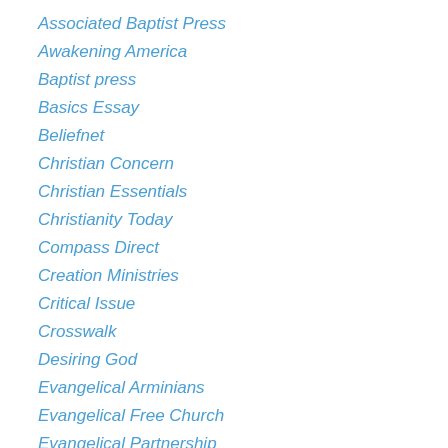Associated Baptist Press
Awakening America
Baptist press
Basics Essay
Beliefnet
Christian Concern
Christian Essentials
Christianity Today
Compass Direct
Creation Ministries
Critical Issue
Crosswalk
Desiring God
Evangelical Arminians
Evangelical Free Church
Evangelical Partnership
Extreeme Theology
GOD in America
Innocence Project
J Edwards